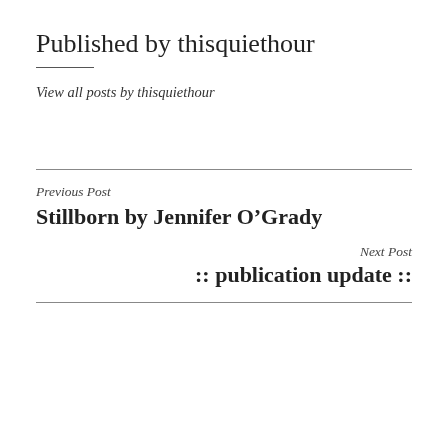Published by thisquiethour
View all posts by thisquiethour
Previous Post
Stillborn by Jennifer O’Grady
Next Post
:: publication update ::